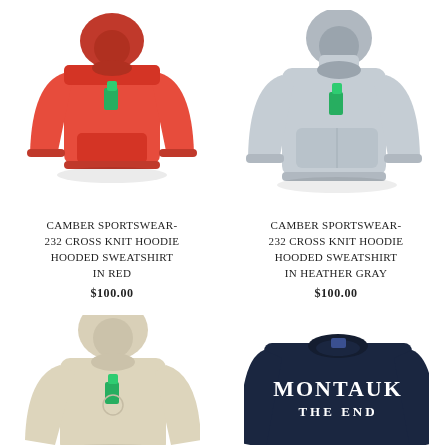[Figure (photo): Red Camber Sportswear 232 Cross Knit Hoodie Hooded Sweatshirt in Red with green price tag]
CAMBER SPORTSWEAR- 232 CROSS KNIT HOODIE HOODED SWEATSHIRT IN RED
$100.00
[Figure (photo): Gray Camber Sportswear 232 Cross Knit Hoodie Hooded Sweatshirt in Heather Gray with green price tag]
CAMBER SPORTSWEAR- 232 CROSS KNIT HOODIE HOODED SWEATSHIRT IN HEATHER GRAY
$100.00
[Figure (photo): Cream/beige Camber Sportswear hoodie with green price tag, partially cropped]
[Figure (photo): Navy blue Montauk The End crewneck sweatshirt, partially cropped]